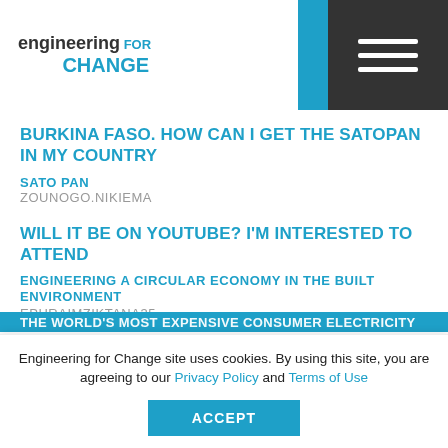engineering for change
BURKINA FASO. HOW CAN I GET THE SATOPAN IN MY COUNTRY
SATO PAN
ZOUNOGO.NIKIEMA
WILL IT BE ON YOUTUBE? I'M INTERESTED TO ATTEND
ENGINEERING A CIRCULAR ECONOMY IN THE BUILT ENVIRONMENT
EPHRAIMZIKTANA35
A VERY INSIGHTFUL PIECE
THE WORLD'S MOST EXPENSIVE CONSUMER ELECTRICITY
Engineering for Change site uses cookies. By using this site, you are agreeing to our Privacy Policy and Terms of Use
ACCEPT